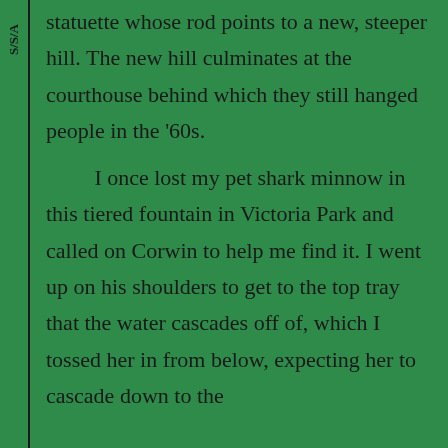S/S/A
statuette whose rod points to a new, steeper hill. The new hill culminates at the courthouse behind which they still hanged people in the '60s.

	I once lost my pet shark minnow in this tiered fountain in Victoria Park and called on Corwin to help me find it. I went up on his shoulders to get to the top tray that the water cascades off of, which I tossed her in from below, expecting her to cascade down to the